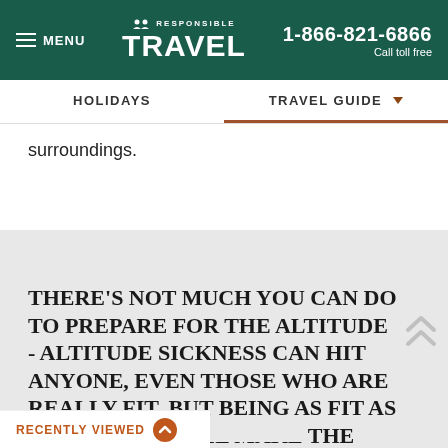MENU | RESPONSIBLE TRAVEL | 1-866-821-6866 Call toll free
HOLIDAYS | TRAVEL GUIDE
surroundings.
THERE’S NOT MUCH YOU CAN DO TO PREPARE FOR THE ALTITUDE - ALTITUDE SICKNESS CAN HIT ANYONE, EVEN THOSE WHO ARE REALLY FIT, BUT BEING AS FIT AS YOU CAN BE WILL MAKE THE WALK ...LE.
RECENTLY VIEWED